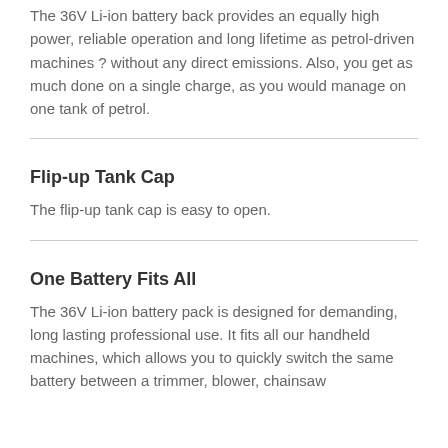The 36V Li-ion battery back provides an equally high power, reliable operation and long lifetime as petrol-driven machines ? without any direct emissions. Also, you get as much done on a single charge, as you would manage on one tank of petrol.
Flip-up Tank Cap
The flip-up tank cap is easy to open.
One Battery Fits All
The 36V Li-ion battery pack is designed for demanding, long lasting professional use. It fits all our handheld machines, which allows you to quickly switch the same battery between a trimmer, blower, chainsaw